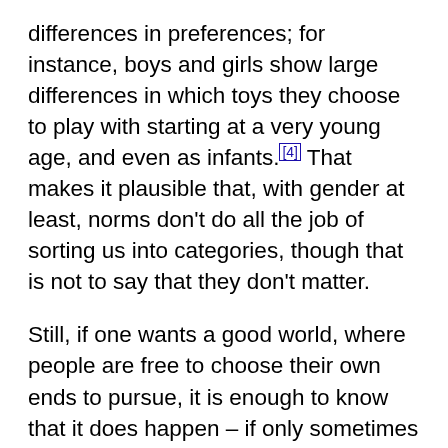that there is evidence for innate gender differences in preferences; for instance, boys and girls show large differences in which toys they choose to play with starting at a very young age, and even as infants.[4] That makes it plausible that, with gender at least, norms don't do all the job of sorting us into categories, though that is not to say that they don't matter.
Still, if one wants a good world, where people are free to choose their own ends to pursue, it is enough to know that it does happen – if only sometimes – that people are sorted into categories which they would not have chosen for themselves for us to want to put an end to